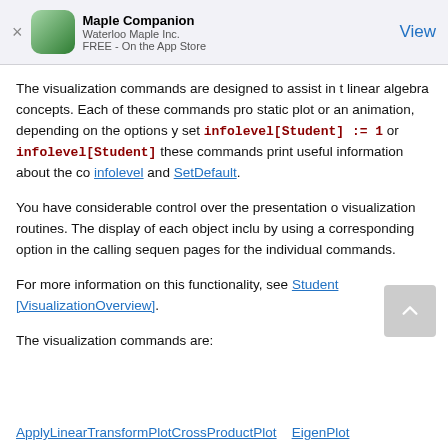Maple Companion
Waterloo Maple Inc.
FREE - On the App Store
View
The visualization commands are designed to assist in the understanding of linear algebra concepts. Each of these commands produces either a static plot or an animation, depending on the options you specify. If you set infolevel[Student] := 1 or infolevel[Student] := 2, these commands print useful information about the computations. See infolevel and SetDefault.
You have considerable control over the presentation of the visualization routines. The display of each object included can be changed by using a corresponding option in the calling sequence. See the help pages for the individual commands.
For more information on this functionality, see Student[VisualizationOverview].
The visualization commands are:
ApplyLinearTransformPlot CrossProductPlot EigenPlot